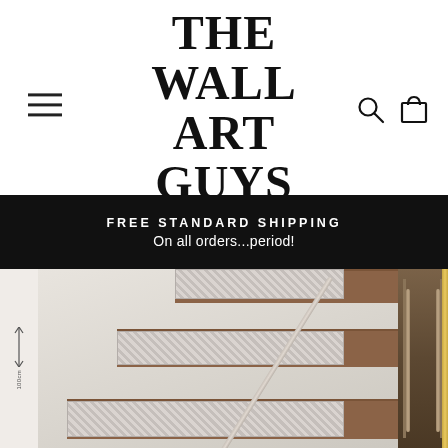[Figure (logo): The Wall Art Guys logo - bold serif text stacked vertically]
FREE STANDARD SHIPPING
On all orders...period!
[Figure (photo): Staircase with decorative patterned stair risers featuring a mosaic/tile pattern in white and grey. Wooden treads visible, white walls, metal handrail. Partial view of ornate iron railing on right side.]